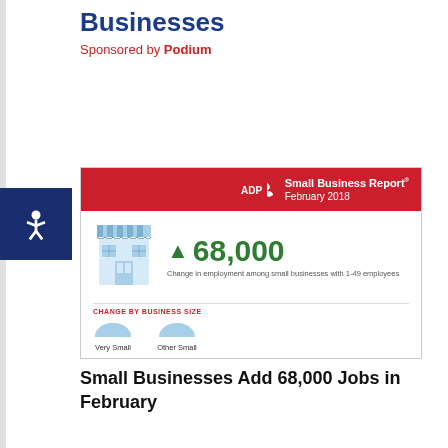Businesses
Sponsored by Podium
[Figure (infographic): ADP Small Business Report February 2018 infographic showing 68,000 change in employment among small businesses with 1-49 employees, with a store icon, upward green arrow, and a 'Change by Business Size' section showing Very Small and Other Small categories with semi-circle icons.]
Small Businesses Add 68,000 Jobs in February